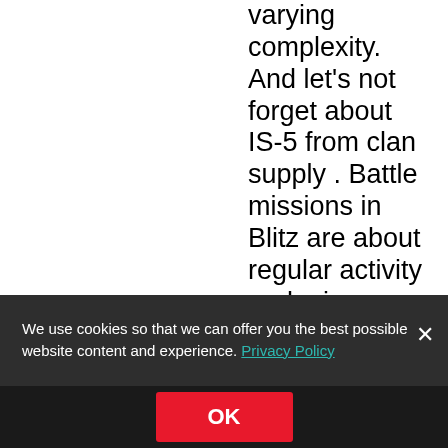varying complexity. And let's not forget about IS-5 from clan supply . Battle missions in Blitz are about regular activity and minor rewards, not exclusive
We use cookies so that we can offer you the best possible website content and experience. Privacy Policy
OK